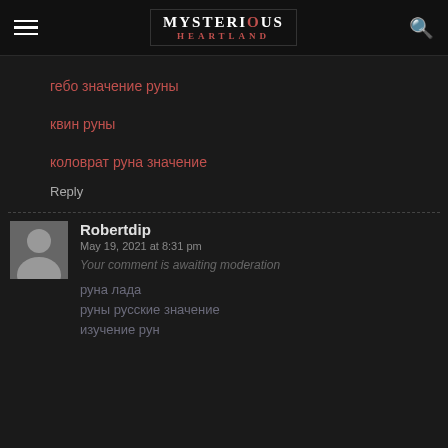MYSTERIOUS HEARTLAND
гебо значение руны
квин руны
коловрат руна значение
Reply
Robertdip
May 19, 2021 at 8:31 pm
Your comment is awaiting moderation
руна лада
руны русские значение
изучение рун